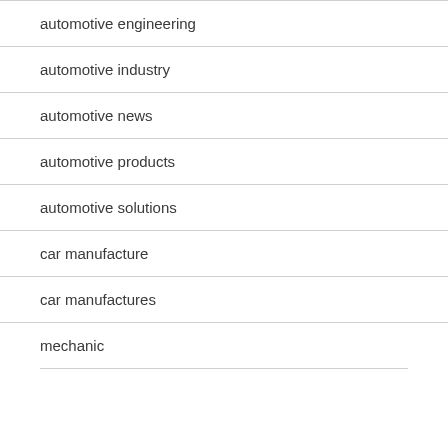automotive engineering
automotive industry
automotive news
automotive products
automotive solutions
car manufacture
car manufactures
mechanic